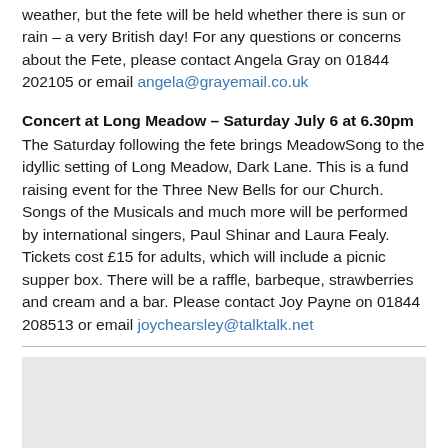weather, but the fete will be held whether there is sun or rain – a very British day! For any questions or concerns about the Fete, please contact Angela Gray on 01844 202105 or email angela@grayemail.co.uk
Concert at Long Meadow – Saturday July 6 at 6.30pm
The Saturday following the fete brings MeadowSong to the idyllic setting of Long Meadow, Dark Lane. This is a fund raising event for the Three New Bells for our Church. Songs of the Musicals and much more will be performed by international singers, Paul Shinar and Laura Fealy. Tickets cost £15 for adults, which will include a picnic supper box. There will be a raffle, barbeque, strawberries and cream and a bar. Please contact Joy Payne on 01844 208513 or email joychearsley@talktalk.net
[Figure (other): Grey shaded box area]
Wednesday, 19 June 2013
Workaid